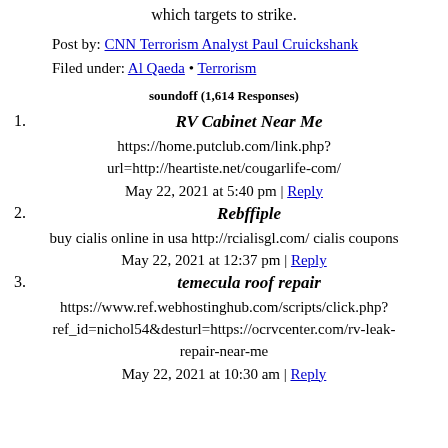which targets to strike.
Post by: CNN Terrorism Analyst Paul Cruickshank
Filed under: Al Qaeda • Terrorism
soundoff (1,614 Responses)
1. RV Cabinet Near Me
https://home.putclub.com/link.php?url=http://heartiste.net/cougarlife-com/
May 22, 2021 at 5:40 pm | Reply
2. Rebffiple
buy cialis online in usa http://rcialisgl.com/ cialis coupons
May 22, 2021 at 12:37 pm | Reply
3. temecula roof repair
https://www.ref.webhostinghub.com/scripts/click.php?ref_id=nichol54&desturl=https://ocrvcenter.com/rv-leak-repair-near-me
May 22, 2021 at 10:30 am | Reply